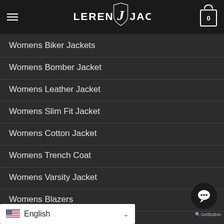LEREN J JACK
Womens Biker Jackets
Womens Bomber Jacket
Womens Leather Jacket
Womens Slim Fit Jacket
Womens Cotton Jacket
Womens Trench Coat
Womens Varsity Jacket
Womens Blazers
Womens Suits
Wo...